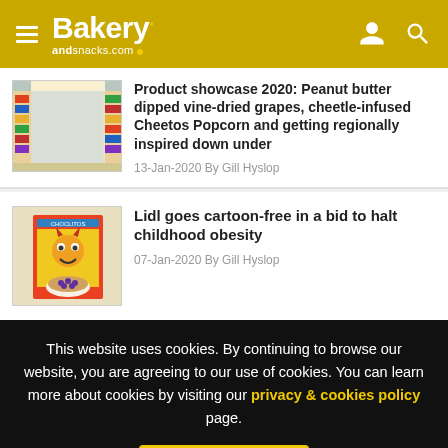Bakery andsnacks.com
[Figure (photo): Photo of supermarket aisle with colorful snack products on shelves]
Product showcase 2020: Peanut butter dipped vine-dried grapes, cheetle-infused Cheetos Popcorn and getting regionally inspired down under
13-Jan-2020 By Gill Hyslop
[Figure (photo): Photo of a cereal box featuring a cartoon character with chocolate cereal pieces in a bowl]
Lidl goes cartoon-free in a bid to halt childhood obesity
07-Jan-2020 By Gill Hyslop
This website uses cookies. By continuing to browse our website, you are agreeing to our use of cookies. You can learn more about cookies by visiting our privacy & cookies policy page.